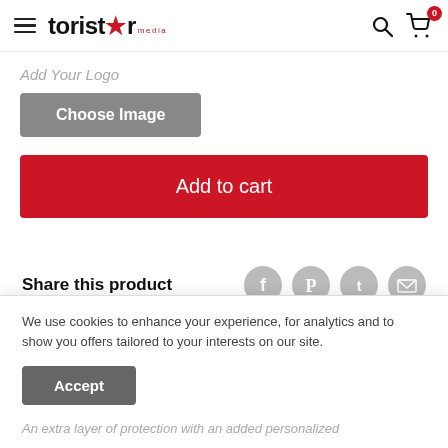[Figure (logo): Toristar Media logo with hamburger menu icon on left, search and cart icons on right. Cart shows badge with 0.]
Add Your Logo
Choose Image
Add to cart
Share this product
[Figure (illustration): Social share icons: Facebook, Pinterest, Twitter, Email — grey circles]
We use cookies to enhance your experience, for analytics and to show you offers tailored to your interests on our site.
Accept
An extra layer of protection with an added personalized